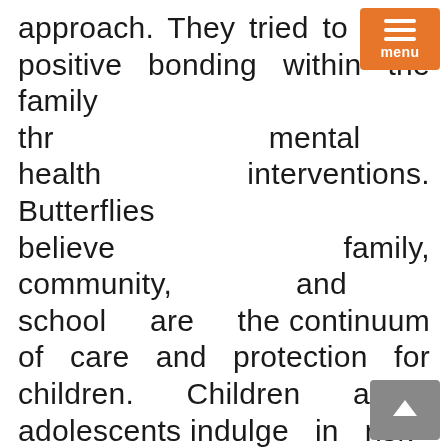approach. They tried to bring positive bonding within the family through mental health interventions. Butterflies believe family, community, and school are the continuum of care and protection for children. Children and adolescents indulge in risk and problematic behavior identified by the educator or social worker and referred to the social caseworker (professionally qualified medical and psychiatric social worker). The social caseworker conducts individual casework sessions with the children and family